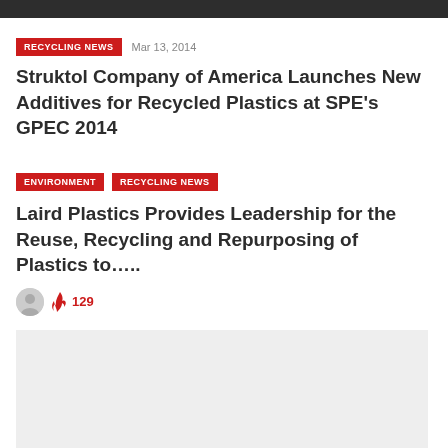RECYCLING NEWS   Mar 13, 2014
Struktol Company of America Launches New Additives for Recycled Plastics at SPE's GPEC 2014
ENVIRONMENT   RECYCLING NEWS
Laird Plastics Provides Leadership for the Reuse, Recycling and Repurposing of Plastics to…..
129
[Figure (other): Gray advertisement placeholder box]